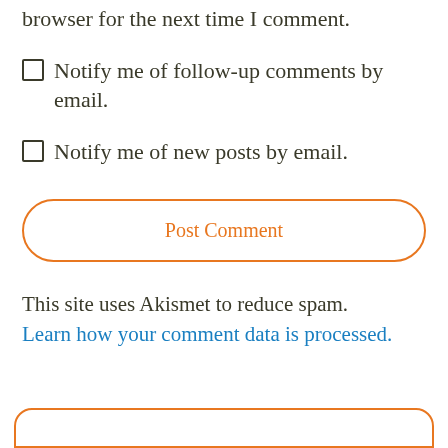browser for the next time I comment.
Notify me of follow-up comments by email.
Notify me of new posts by email.
Post Comment
This site uses Akismet to reduce spam.
Learn how your comment data is processed.